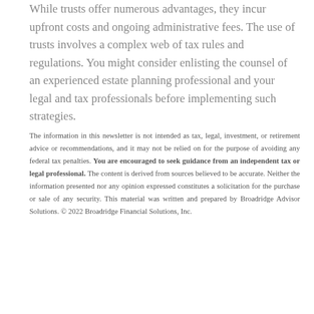While trusts offer numerous advantages, they incur upfront costs and ongoing administrative fees. The use of trusts involves a complex web of tax rules and regulations. You might consider enlisting the counsel of an experienced estate planning professional and your legal and tax professionals before implementing such strategies.
The information in this newsletter is not intended as tax, legal, investment, or retirement advice or recommendations, and it may not be relied on for the purpose of avoiding any federal tax penalties. You are encouraged to seek guidance from an independent tax or legal professional. The content is derived from sources believed to be accurate. Neither the information presented nor any opinion expressed constitutes a solicitation for the purchase or sale of any security. This material was written and prepared by Broadridge Advisor Solutions. © 2022 Broadridge Financial Solutions, Inc.